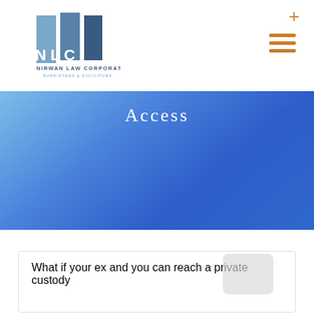[Figure (logo): NLC Nirwan Law Corporation Barristers & Solicitors logo with two blue columns and text]
[Figure (other): Hamburger menu icon (three horizontal orange lines)]
[Figure (other): Orange plus icon in top right corner]
Access
What if your ex and you can reach a private custody